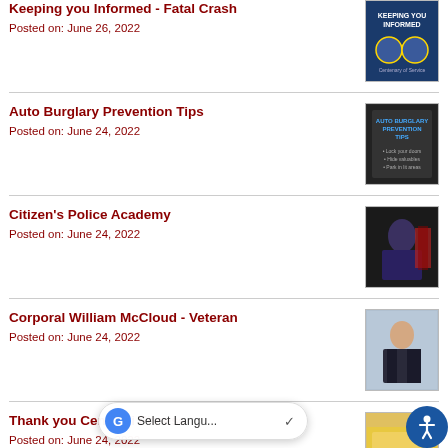Keeping you Informed - Fatal Crash
Posted on: June 26, 2022
Auto Burglary Prevention Tips
Posted on: June 24, 2022
Citizen's Police Academy
Posted on: June 24, 2022
Corporal William McCloud - Veteran
Posted on: June 24, 2022
Thank you Centauri Fitness
Posted on: June 24, 2022